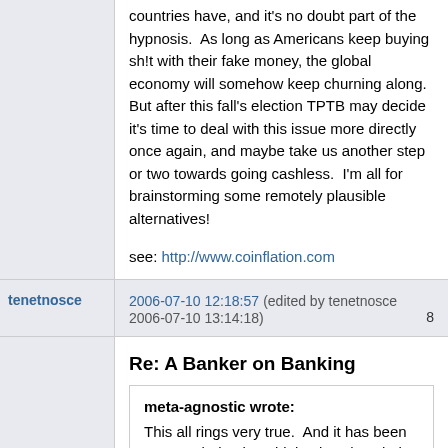countries have, and it's no doubt part of the hypnosis.  As long as Americans keep buying sh!t with their fake money, the global economy will somehow keep churning along.  But after this fall's election TPTB may decide it's time to deal with this issue more directly once again, and maybe take us another step or two towards going cashless.  I'm all for brainstorming some remotely plausible alternatives!
see: http://www.coinflation.com
tenetnosce
2006-07-10 12:18:57 (edited by tenetnosce 2006-07-10 13:14:18)
Re: A Banker on Banking
meta-agnostic wrote:
This all rings very true.  And it has been on my mind quite a bit lately.  The whole